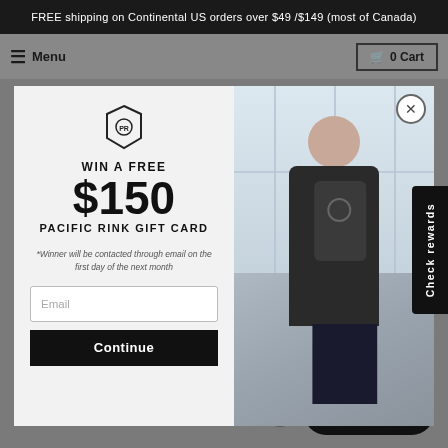FREE shipping on Continental US orders over $49 /$149 (most of Canada)
Menu
0 Cart
[Figure (screenshot): Modal popup with left panel showing a badge logo, 'WIN A FREE $150 PACIFIC RINK GIFT CARD' text, winner note, email input and Continue button. Right panel shows a photo of a man from behind wearing a dark backpack.]
WIN A FREE
$150
PACIFIC RINK GIFT CARD
*Winner will be contacted through email on the first day of the next month
Check rewards
Email us